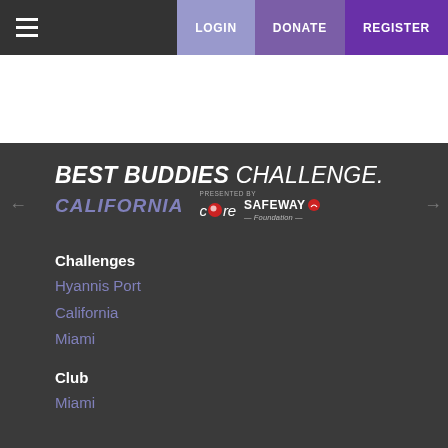☰  LOGIN  DONATE  REGISTER
[Figure (logo): Best Buddies Challenge California presented by Core and Safeway Foundation logo on dark background]
Challenges
Hyannis Port
California
Miami
Club
Miami